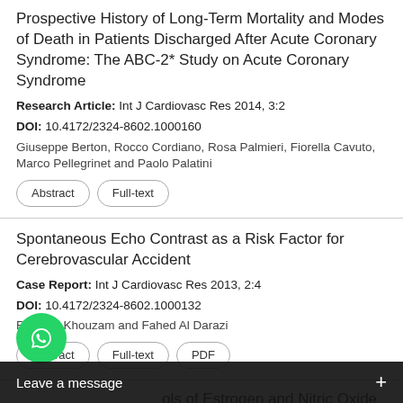Prospective History of Long-Term Mortality and Modes of Death in Patients Discharged After Acute Coronary Syndrome: The ABC-2* Study on Acute Coronary Syndrome
Research Article: Int J Cardiovasc Res 2014, 3:2
DOI: 10.4172/2324-8602.1000160
Giuseppe Berton, Rocco Cordiano, Rosa Palmieri, Fiorella Cavuto, Marco Pellegrinet and Paolo Palatini
Abstract | Full-text
Spontaneous Echo Contrast as a Risk Factor for Cerebrovascular Accident
Case Report: Int J Cardiovasc Res 2013, 2:4
DOI: 10.4172/2324-8602.1000132
Rami N. Khouzam and Fahed Al Darazi
Abstract | Full-text | PDF
...ols of Estrogen and Nitric Oxide in the Prevention of Arrhythmias in the Embryo...
[Figure (screenshot): WhatsApp 'Leave a message' overlay bar at the bottom of the screen with green WhatsApp icon and dark message bar]